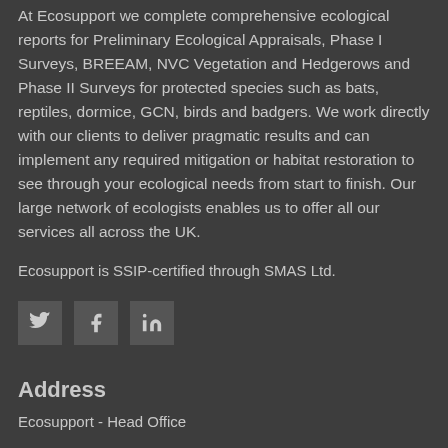At Ecosupport we complete comprehensive ecological reports for Preliminary Ecological Appraisals, Phase I Surveys, BREEAM, NVC Vegetation and Hedgerows and Phase II Surveys for protected species such as bats, reptiles, dormice, GCN, birds and badgers. We work directly with our clients to deliver pragmatic results and can implement any required mitigation or habitat restoration to see through your ecological needs from start to finish. Our large network of ecologists enables us to offer all our services all across the UK.
Ecosupport is SSIP-certified through SMAS Ltd.
[Figure (other): Social media icons for Twitter, Facebook, and LinkedIn]
Address
Ecosupport - Head Office